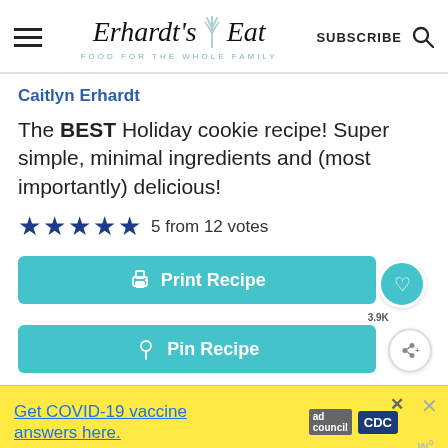Erhardt's Eat — FOOD FOR THE WHOLE FAMILY | SUBSCRIBE
Caitlyn Erhardt
The BEST Holiday cookie recipe! Super simple, minimal ingredients and (most importantly) delicious!
5 from 12 votes
Print Recipe
Pin Recipe
Get COVID-19 vaccine answers here.